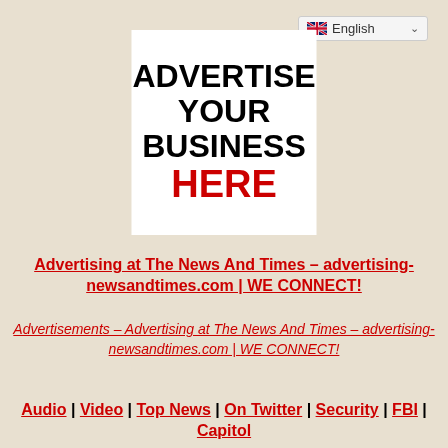[Figure (other): Language selector dropdown showing English with UK flag and chevron]
[Figure (other): Advertisement box with white background showing 'ADVERTISE YOUR BUSINESS HERE' in bold black and red text]
Advertising at The News And Times – advertising-newsandtimes.com | WE CONNECT!
Advertisements – Advertising at The News And Times – advertising-newsandtimes.com | WE CONNECT!
Audio | Video | Top News | On Twitter | Security | FBI | Capitol